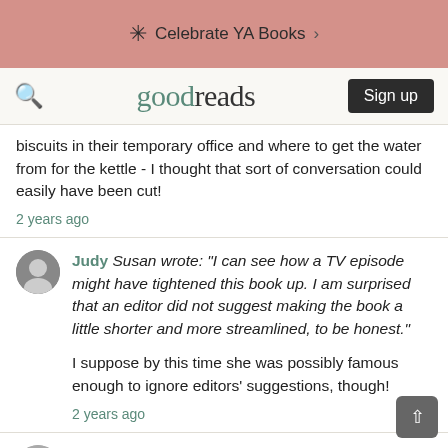Celebrate YA Books >
goodreads Sign up
biscuits in their temporary office and where to get the water from for the kettle - I thought that sort of conversation could easily have been cut!
2 years ago
Judy Susan wrote: "I can see how a TV episode might have tightened this book up. I am surprised that an editor did not suggest making the book a little shorter and more streamlined, to be honest."

I suppose by this time she was possibly famous enough to ignore editors' suggestions, though!
2 years ago
Sandy A bit like J K Rowling with Harry Potter and her Strike series. I like Strike but an rather dreading a 700 page mystery. (I should check that page count, it may have grown